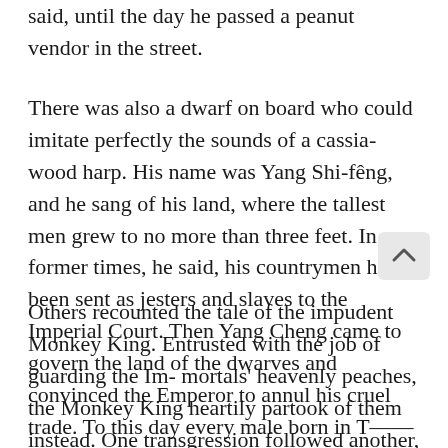said, until the day he passed a peanut vendor in the street.
There was also a dwarf on board who could imitate perfectly the sounds of a cassia-wood harp. His name was Yang Shi-fêng, and he sang of his land, where the tallest men grew to no more than three feet. In former times, he said, his countrymen had been sent as jesters and slaves to the Imperial Court. Then Yang Cheng came to govern the land of the dwarves and convinced the Emperor to annul his cruel trade. To this day every male born in T—— has Yang in his nam
Others recounted the tale of the impudent Monkey King. Entrusted with the job of guarding the Im- mortals' heavenly peaches, the Monkey King heartily partook of them instead. One transgression followed another, but none of the